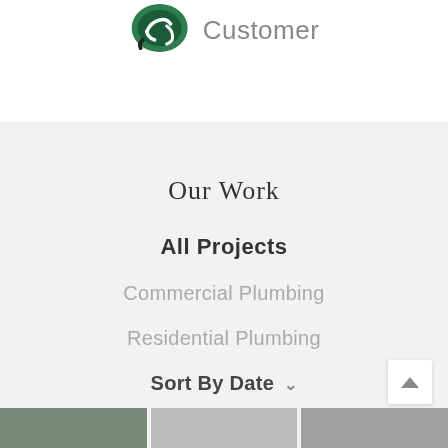[Figure (logo): Green plumbing company logo (stylized pipe/wrench in green circle)]
Customer
Our Work
All Projects
Commercial Plumbing
Residential Plumbing
Sort By Date
[Figure (photo): Three thumbnail images of plumbing projects at the bottom of the page]